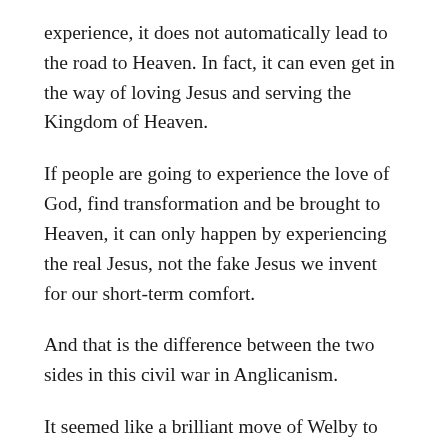experience, it does not automatically lead to the road to Heaven. In fact, it can even get in the way of loving Jesus and serving the Kingdom of Heaven.
If people are going to experience the love of God, find transformation and be brought to Heaven, it can only happen by experiencing the real Jesus, not the fake Jesus we invent for our short-term comfort.
And that is the difference between the two sides in this civil war in Anglicanism.
It seemed like a brilliant move of Welby to sign up Michael Curry to present their joint vision of faith. But the reason for the struggle is that 90 percent of Anglicans in time, and nearly 100 percent of